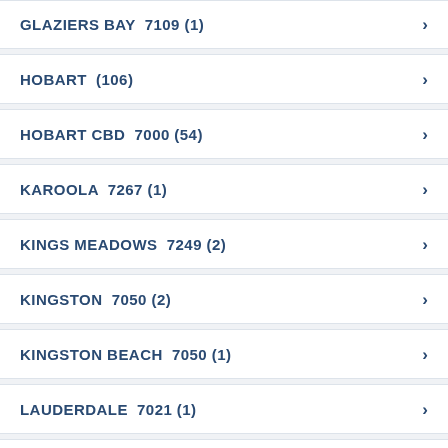GLAZIERS BAY  7109 (1)
HOBART  (106)
HOBART CBD  7000 (54)
KAROOLA  7267 (1)
KINGS MEADOWS  7249 (2)
KINGSTON  7050 (2)
KINGSTON BEACH  7050 (1)
LAUDERDALE  7021 (1)
LAUNCESTON  (22)